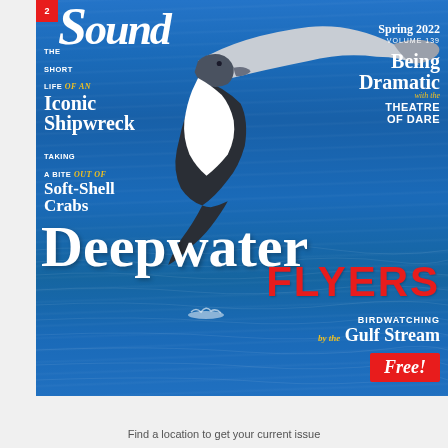[Figure (photo): Magazine cover of a coastal/nature magazine. Spring 2022, Volume 139. Cover features a seabird (petrel or shearwater) in flight over blue ocean water. Headlines include: THE SHORT LIFE of an Iconic Shipwreck; Being Dramatic with the THEATRE OF DARE; TAKING A BITE out of Soft-Shell Crabs; Deepwater FLYERS; BIRDWATCHING by the Gulf Stream; Free! badge in red.]
Find a location to get your current issue